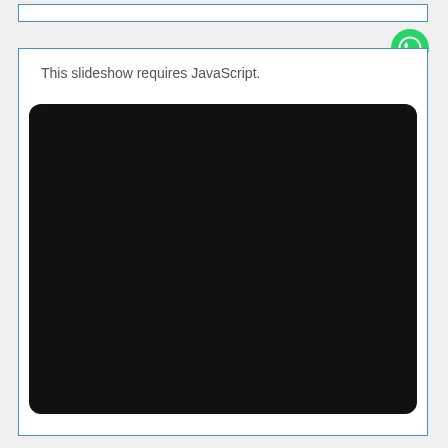[Figure (screenshot): Top navigation bar, thin white box with blue border]
[Figure (logo): WhatsApp green circular icon in top right corner]
This slideshow requires JavaScript.
[Figure (screenshot): Black rounded rectangle placeholder for a JavaScript slideshow]